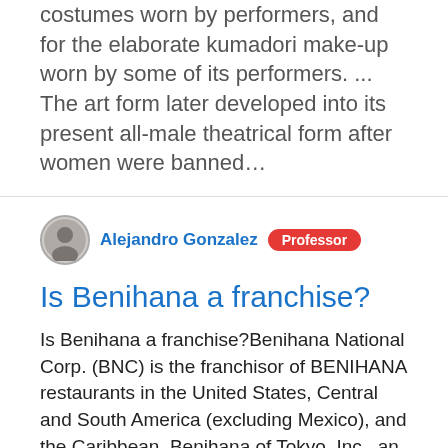costumes worn by performers, and for the elaborate kumadori make-up worn by some of its performers. ... The art form later developed into its present all-male theatrical form after women were banned…
Alejandro Gonzalez  Professor
Is Benihana a franchise?
Is Benihana a franchise?Benihana National Corp. (BNC) is the franchisor of BENIHANA restaurants in the United States, Central and South America (excluding Mexico), and the Caribbean. Benihana of Tokyo, Inc., an entity not affiliated with BNC, sells franchises outside those locations.What company owns Benihana?Benihana agreed in 2012 to be purchased by the private equity firm of Angelo Gordon & Company for